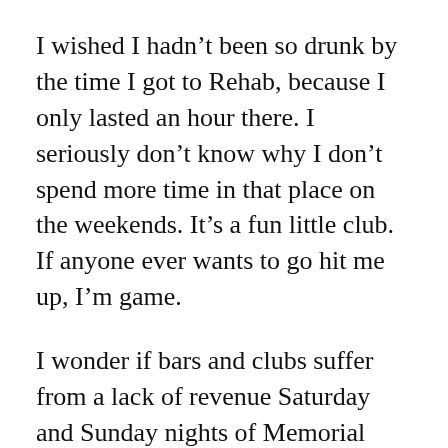I wished I hadn't been so drunk by the time I got to Rehab, because I only lasted an hour there. I seriously don't know why I don't spend more time in that place on the weekends. It's a fun little club. If anyone ever wants to go hit me up, I'm game.
I wonder if bars and clubs suffer from a lack of revenue Saturday and Sunday nights of Memorial Day weekend, because people start drinking early in the day and are too tired to stay out late? Certainly happened in my case.
By the way: I'm noticing a disturbing trend on Facebook. Ladies are laying out by the pool, and posting a photo of their feet facing the